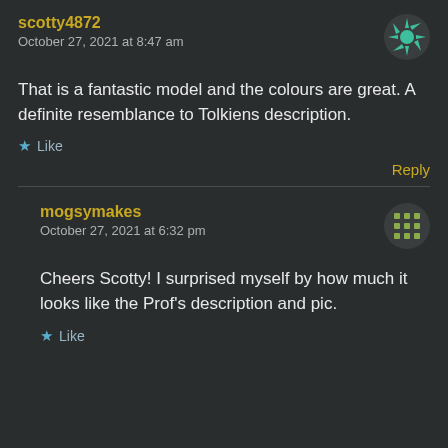scotty4872
October 27, 2021 at 8:47 am
That is a fantastic model and the colours are great. A definite resemblance to Tolkiens description.
Like
Reply
mogsymakes
October 27, 2021 at 6:32 pm
Cheers Scotty! I surprised myself by how much it looks like the Prof's description and pic.
Like